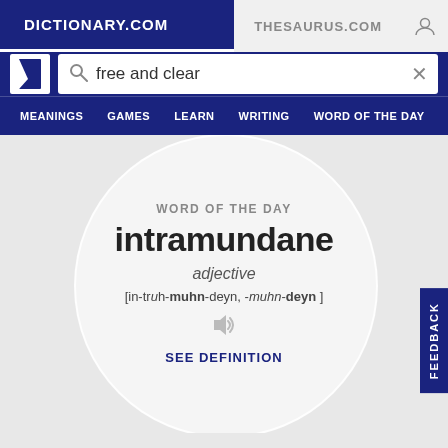DICTIONARY.COM | THESAURUS.COM
free and clear
MEANINGS | GAMES | LEARN | WRITING | WORD OF THE DAY
WORD OF THE DAY
intramundane
adjective
[in-truh-muhn-deyn, -muhn-deyn ]
SEE DEFINITION
FEEDBACK